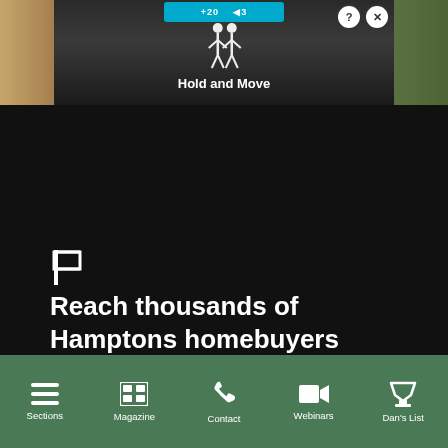[Figure (screenshot): Top advertisement banner showing a dark gaming/video screenshot with 'Hold and Move' text, score indicators, close button with ? and X icons, and trees/outdoor background]
Reach thousands of Hamptons homebuyers every weekday
FIND OUT MORE
[Figure (screenshot): Bottom navigation bar with green background showing icons and labels: Sections (hamburger menu), Magazine (grid icon), Contact (phone icon), Webinars (video camera icon), Dan's List (trophy icon)]